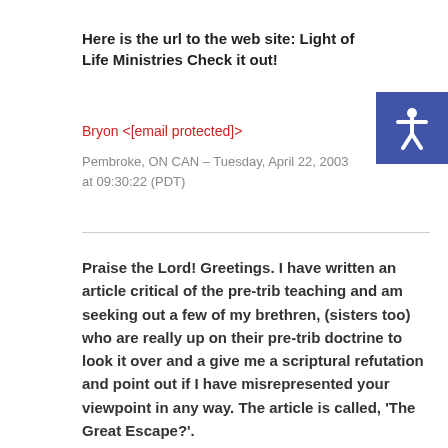Here is the url to the web site: Light of Life Ministries Check it out!
Bryon <[email protected]>
Pembroke, ON CAN – Tuesday, April 22, 2003 at 09:30:22 (PDT)
Praise the Lord! Greetings. I have written an article critical of the pre-trib teaching and am seeking out a few of my brethren, (sisters too) who are really up on their pre-trib doctrine to look it over and a give me a scriptural refutation and point out if I have misrepresented your viewpoint in any way. The article is called, 'The Great Escape?'.